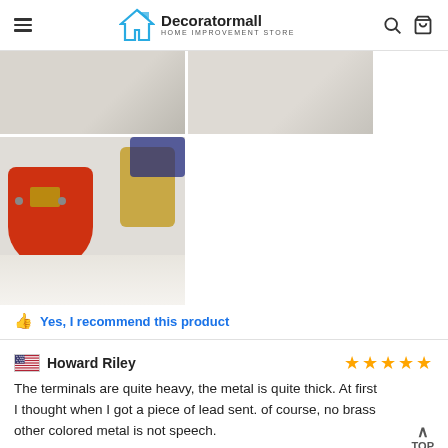Decoratormall HOME IMPROVEMENT STORE
[Figure (photo): Two product photos showing battery terminals - one partial view of a white surface with items, and one showing the terminals more closely. A third photo shows a red battery terminal clamp and a gold/brass colored battery terminal clamp on a white surface.]
Yes, I recommend this product
Howard Riley
The terminals are quite heavy, the metal is quite thick. At first I thought when I got a piece of lead sent. of course, no brass other colored metal is not speech.
Yes, I recommend this product